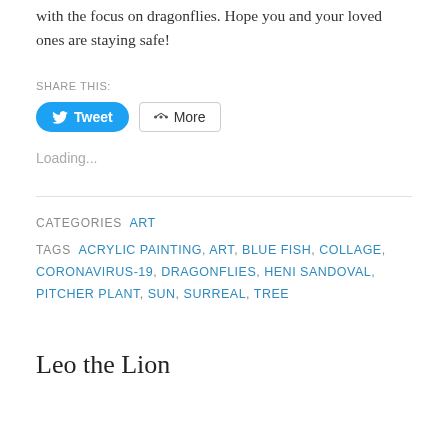with the focus on dragonflies. Hope you and your loved ones are staying safe!
SHARE THIS:
Tweet  More
Loading...
CATEGORIES  ART
TAGS  ACRYLIC PAINTING, ART, BLUE FISH, COLLAGE, CORONAVIRUS-19, DRAGONFLIES, HENI SANDOVAL, PITCHER PLANT, SUN, SURREAL, TREE
Leo the Lion